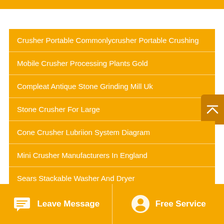Crusher Portable Commonlycrusher Portable Crushing
Mobile Crusher Processing Plants Gold
Compleat Antique Stone Grinding Mill Uk
Stone Crusher For Large
Cone Crusher Lubriion System Diagram
Mini Crusher Manufacturers In England
Sears Stackable Washer And Dryer
Mobile Aggregates Crusher Austria For Sale
Leave Message   Free Service